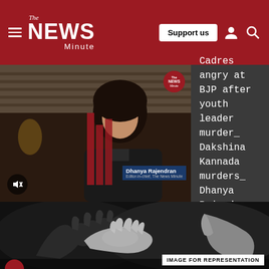The News Minute — Support us
[Figure (screenshot): Video thumbnail showing Dhanya Rajendran, Editor-in-chief of The News Minute, with TNM logo overlay and mute button]
Cadres angry at BJP after youth leader murder_ Dakshina Kannada murders_ Dhanya Rajendran
[Figure (photo): Black and white close-up photograph of hands — an adult hand holding a small child's hand — labeled IMAGE FOR REPRESENTATION]
IMAGE FOR REPRESENTATION